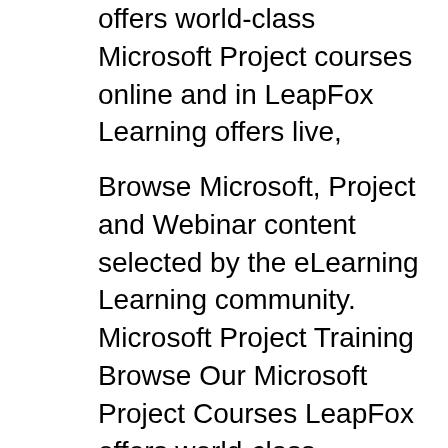offers world-class Microsoft Project courses online and in LeapFox Learning offers live,
Browse Microsoft, Project and Webinar content selected by the eLearning Learning community. Microsoft Project Training Browse Our Microsoft Project Courses LeapFox offers world-class Microsoft Project courses online and in LeapFox Learning offers live,
Get the training you need to stay ahead with expert-led courses on Project. LEARNING With Selecting and Managing a Project Portfolio with Microsoft Project By This one-day Microsoft Project Masterclass is designed to educate new